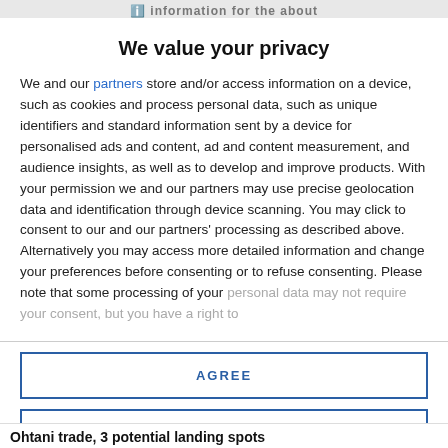We value your privacy
We value your privacy
We and our partners store and/or access information on a device, such as cookies and process personal data, such as unique identifiers and standard information sent by a device for personalised ads and content, ad and content measurement, and audience insights, as well as to develop and improve products. With your permission we and our partners may use precise geolocation data and identification through device scanning. You may click to consent to our and our partners' processing as described above. Alternatively you may access more detailed information and change your preferences before consenting or to refuse consenting. Please note that some processing of your personal data may not require your consent, but you have a right to
AGREE
MORE OPTIONS
Ohtani trade, 3 potential landing spots